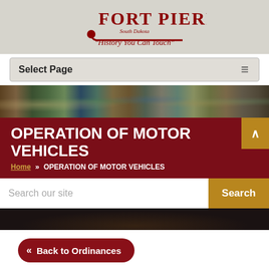[Figure (logo): Fort Pierre South Dakota logo with text 'History You Can Touch' in red stylized font with decorative pipe/scroll element]
Select Page
[Figure (photo): Panoramic photo banner showing various Fort Pierre scenes including wildlife, fishing, people, landscapes, and outdoor activities]
OPERATION OF MOTOR VEHICLES
Home » OPERATION OF MOTOR VEHICLES
Search our site
« Back to Ordinances